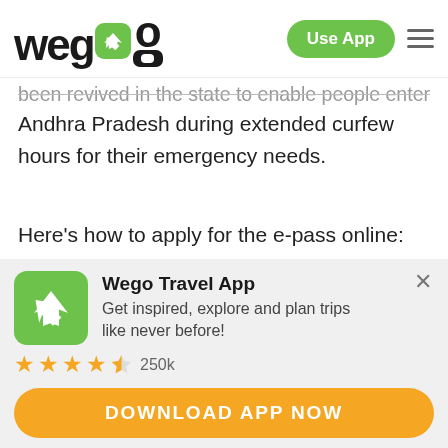[Figure (logo): Wego logo with airplane icon in green rounded square, followed by Use App button and hamburger menu]
been revived in the state to enable people enter Andhra Pradesh during extended curfew hours for their emergency needs.
Here's how to apply for the e-pass online:
Start the registration process by visiting the official AP police website here.
[Figure (infographic): Wego Travel App download banner with green plane icon, title 'Wego Travel App', description 'Get inspired, explore and plan trips like never before!', 4.5 star rating, 250k reviews, and orange DOWNLOAD APP NOW button]